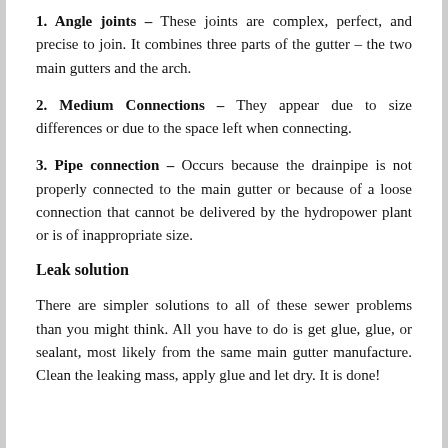1. Angle joints – These joints are complex, perfect, and precise to join. It combines three parts of the gutter – the two main gutters and the arch.
2. Medium Connections – They appear due to size differences or due to the space left when connecting.
3. Pipe connection – Occurs because the drainpipe is not properly connected to the main gutter or because of a loose connection that cannot be delivered by the hydropower plant or is of inappropriate size.
Leak solution
There are simpler solutions to all of these sewer problems than you might think. All you have to do is get glue, glue, or sealant, most likely from the same main gutter manufacture. Clean the leaking mass, apply glue and let dry. It is done!